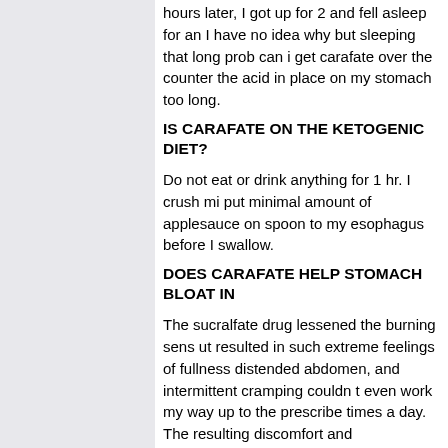hours later, I got up for 2 and fell asleep for an I have no idea why but sleeping that long prob can i get carafate over the counter the acid in place on my stomach too long.
IS CARAFATE ON THE KETOGENIC DIET?
Do not eat or drink anything for 1 hr. I crush mi put minimal amount of applesauce on spoon to my esophagus before I swallow.
DOES CARAFATE HELP STOMACH BLOAT IN ?
The sucralfate drug lessened the burning sens ut resulted in such extreme feelings of fullness distended abdomen, and intermittent cramping couldn t even work my way up to the prescribe times a day. The resulting discomfort and crampingwas unbearable For GERD: I was pre Sucralfate for GERD a couple can i get carafa the counter weeks ago.
For Duodenal Ulcer Prophylaxis: Started takin